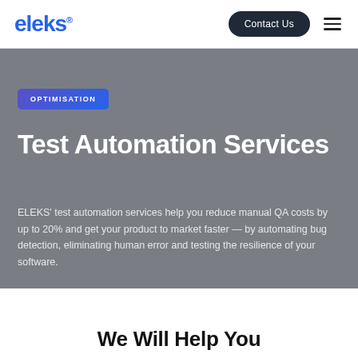eleks® | Contact Us
OPTIMISATION
Test Automation Services
ELEKS' test automation services help you reduce manual QA costs by up to 20% and get your product to market faster — by automating bug detection, eliminating human error and testing the resilience of your software.
We Will Help You